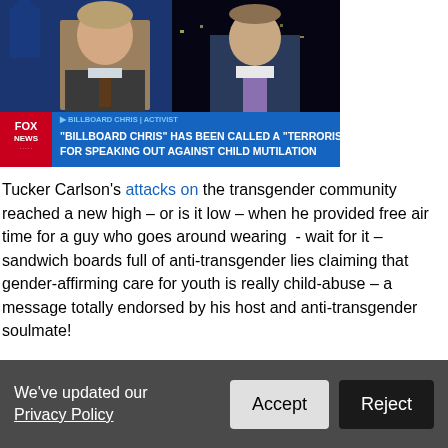[Figure (screenshot): Fox News screenshot showing Tucker Carlson on left and 'Billboard Chris' activist on right, with lower-third graphic reading: '"BILLBOARD CHRIS" HAS BEEN CALLED A "TERRORIST" FOR SPEAKING OUT AGAINST CHILD MUTILATION']
Tucker Carlson's attacks on the transgender community reached a new high – or is it low – when he provided free air time for a guy who goes around wearing  - wait for it – sandwich boards full of anti-transgender lies claiming that gender-affirming care for youth is really child-abuse – a message totally endorsed by his host and anti-transgender soulmate!
Read more
4 reactions   Share
We've updated our Privacy Policy.
Accept   Reject